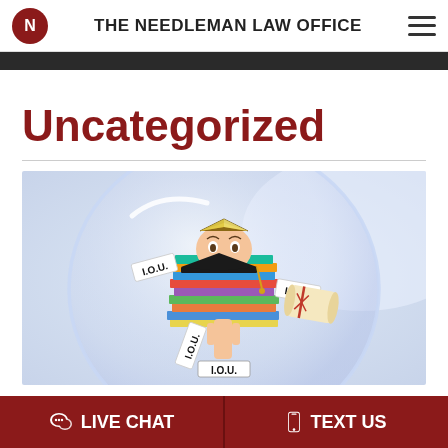THE NEEDLEMAN LAW OFFICE
Uncategorized
[Figure (photo): A young man standing inside a large transparent bubble, holding a tall stack of books above his head, with a graduation cap, diploma, and multiple I.O.U. labels floating around him. Background is light blue/lavender.]
LIVE CHAT   TEXT US